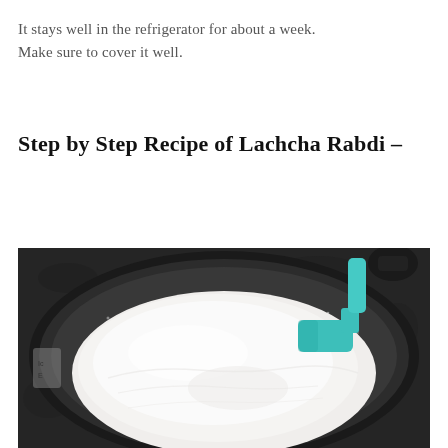It stays well in the refrigerator for about a week. Make sure to cover it well.
Step by Step Recipe of Lachcha Rabdi –
[Figure (photo): A dark non-stick pan viewed from above containing a thick white creamy substance (rabdi/reduced milk), with a teal/turquoise silicone spatula resting on the right side of the pan. The background shows a dark granite countertop.]